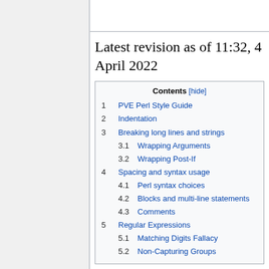[Figure (screenshot): Code box showing 'each other.' in monospace font on light blue background]
Latest revision as of 11:32, 4 April 2022
| Contents [hide] |
| --- |
| 1  PVE Perl Style Guide |
| 2  Indentation |
| 3  Breaking long lines and strings |
| 3.1  Wrapping Arguments |
| 3.2  Wrapping Post-If |
| 4  Spacing and syntax usage |
| 4.1  Perl syntax choices |
| 4.2  Blocks and multi-line statements |
| 4.3  Comments |
| 5  Regular Expressions |
| 5.1  Matching Digits Fallacy |
| 5.2  Non-Capturing Groups |